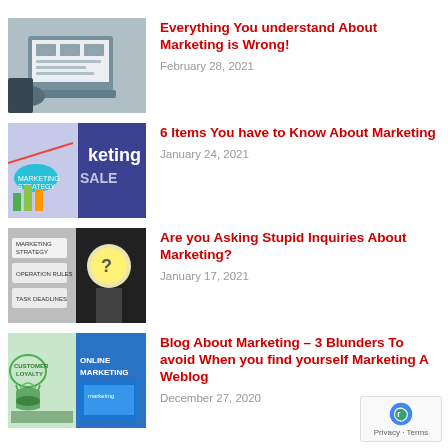[Figure (photo): Person working on laptop with marketing dashboards visible on screen]
Everything You understand About Marketing is Wrong!
February 28, 2021
[Figure (photo): Marketing strategy board with sales text, charts and sticky notes]
6 Items You have to Know About Marketing
January 24, 2021
[Figure (photo): Person in suit holding question mark card alongside marketing strategy papers]
Are you Asking Stupid Inquiries About Marketing?
January 17, 2021
[Figure (photo): Customer loyalty and online marketing collage with handshake and group icons]
Blog About Marketing – 3 Blunders To avoid When you find yourself Marketing A Weblog
December 27, 2020